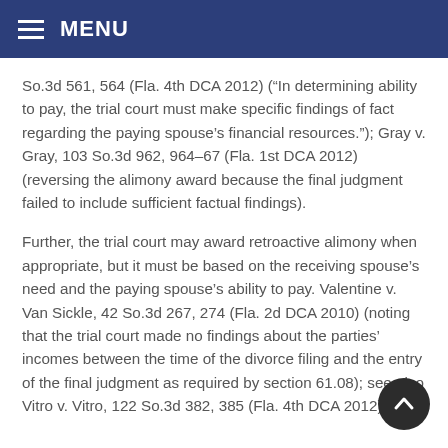MENU
So.3d 561, 564 (Fla. 4th DCA 2012) (“In determining ability to pay, the trial court must make specific findings of fact regarding the paying spouse’s financial resources.”); Gray v. Gray, 103 So.3d 962, 964–67 (Fla. 1st DCA 2012) (reversing the alimony award because the final judgment failed to include sufficient factual findings).
Further, the trial court may award retroactive alimony when appropriate, but it must be based on the receiving spouse’s need and the paying spouse’s ability to pay. Valentine v. Van Sickle, 42 So.3d 267, 274 (Fla. 2d DCA 2010) (noting that the trial court made no findings about the parties’ incomes between the time of the divorce filing and the entry of the final judgment as required by section 61.08); see also Vitro v. Vitro, 122 So.3d 382, 385 (Fla. 4th DCA 2012).